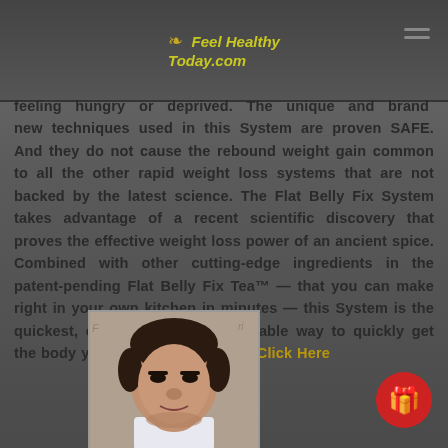Feel Healthy Today.com
feeling hungry or deprived. The unique and brand new techniques used in this System are proven SAFE. And they do not cause the rebound weight gain common to all the other rapid weight loss systems that are not backed by the latest science. The Flat Belly Fix System takes advantage of a recent scientific discovery that proves the effective weight loss power of an ancient spice. Combined with other cutting-edge ingredients in the patent-pending Flat Belly Fix Tea™ — that you can make right in your own kitchen in minutes — this System is the quickest, easiest and most enjoyable way to quickly get the body you desire and deserve. Click Here
[Figure (photo): Photo of a middle-aged man, head and shoulders, dark hair, wearing a white shirt]